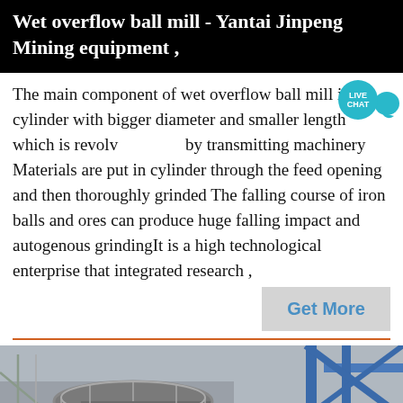Wet overflow ball mill - Yantai Jinpeng Mining equipment ,
The main component of wet overflow ball mill is a cylinder with bigger diameter and smaller length which is revolving by transmitting machinery Materials are put in cylinder through the feed opening and then thoroughly grinded The falling course of iron balls and ores can produce huge falling impact and autogenous grindingIt is a high technological enterprise that integrated research ,
Get More
[Figure (photo): Industrial mining equipment - a large cylindrical wet overflow ball mill with grey metal body, railings, and blue steel scaffolding/support structure visible on the right side. Photographed from a low angle outdoors.]